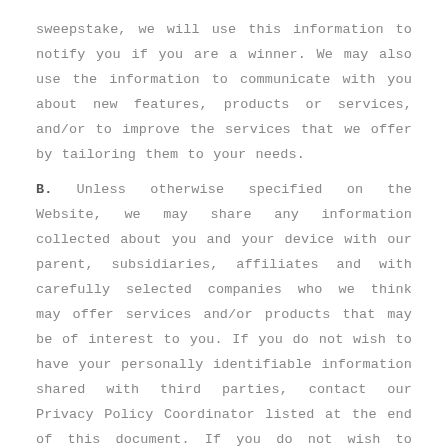sweepstake, we will use this information to notify you if you are a winner. We may also use the information to communicate with you about new features, products or services, and/or to improve the services that we offer by tailoring them to your needs.
B. Unless otherwise specified on the Website, we may share any information collected about you and your device with our parent, subsidiaries, affiliates and with carefully selected companies who we think may offer services and/or products that may be of interest to you. If you do not wish to have your personally identifiable information shared with third parties, contact our Privacy Policy Coordinator listed at the end of this document. If you do not wish to receive future commercial messages from us, you may unsubscribe by clicking the link at the bottom of any of our emails. Please note that cer information